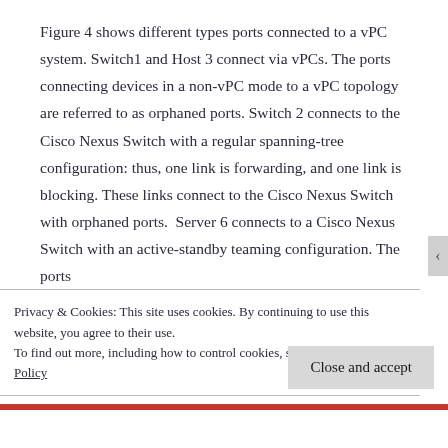Figure 4 shows different types ports connected to a vPC system. Switch1 and Host 3 connect via vPCs. The ports connecting devices in a non-vPC mode to a vPC topology are referred to as orphaned ports. Switch 2 connects to the Cisco Nexus Switch with a regular spanning-tree configuration: thus, one link is forwarding, and one link is blocking. These links connect to the Cisco Nexus Switch with orphaned ports.  Server 6 connects to a Cisco Nexus Switch with an active-standby teaming configuration. The ports
Privacy & Cookies: This site uses cookies. By continuing to use this website, you agree to their use.
To find out more, including how to control cookies, see here: Cookie Policy
Close and accept